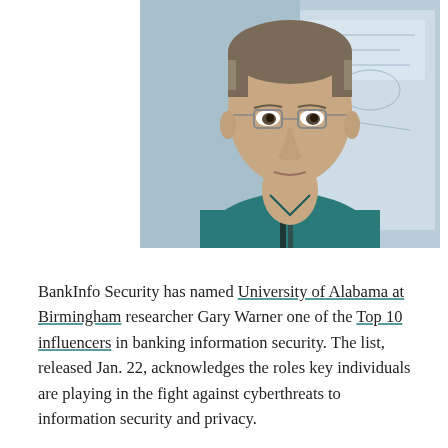[Figure (photo): Portrait photograph of Gary Warner, a middle-aged man with short gray-brown hair wearing glasses and a teal/dark cyan collared shirt with a lanyard. He is seated in front of a screen or whiteboard with diagrams and text visible in the background.]
BankInfo Security has named University of Alabama at Birmingham researcher Gary Warner one of the Top 10 influencers in banking information security. The list, released Jan. 22, acknowledges the roles key individuals are playing in the fight against cyberthreats to information security and privacy.
Warner is the director of research in computer